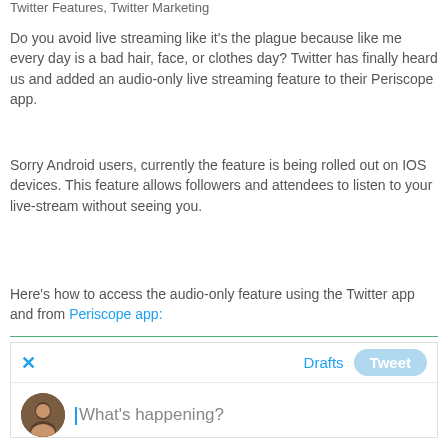Twitter Features, Twitter Marketing
Do you avoid live streaming like it’s the plague because like me every day is a bad hair, face, or clothes day? Twitter has finally heard us and added an audio-only live streaming feature to their Periscope app.
Sorry Android users, currently the feature is being rolled out on IOS devices. This feature allows followers and attendees to listen to your live-stream without seeing you.
Here’s how to access the audio-only feature using the Twitter app and from Periscope app:
[Figure (screenshot): Twitter compose tweet UI showing X close button, Drafts link, Tweet button, avatar photo, and 'What’s happening?' placeholder text with cursor]